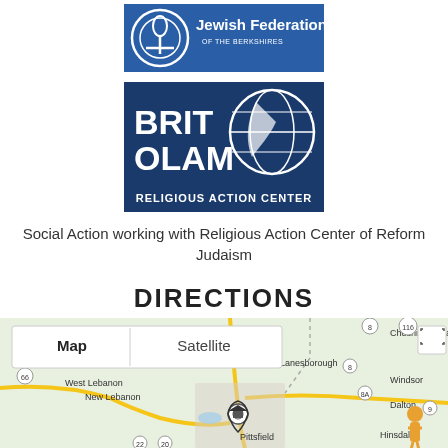[Figure (logo): Jewish Federation of the Berkshires logo — blue rectangle with circular menorah emblem on left and white text 'Jewish Federation OF THE BERKSHIRES' on right]
[Figure (logo): Brit Olam Religious Action Center logo — dark blue square with large white text 'BRIT OLAM' and globe graphic, smaller text 'RELIGIOUS ACTION CENTER' below]
Social Action working with Religious Action Center of Reform Judaism
DIRECTIONS
[Figure (map): Google Maps view showing Pittsfield MA area with surrounding towns: Hancock, Lanesborough, Cheshire, Windsor, Dalton, Hinsdale, West Lebanon, New Lebanon. Map/Satellite toggle buttons visible top-left. Expand button top-right. Location pin on Pittsfield. Pedestrian figure icon bottom-right. Roads including routes 8, 116, 66, 8A, 9, 22 visible.]